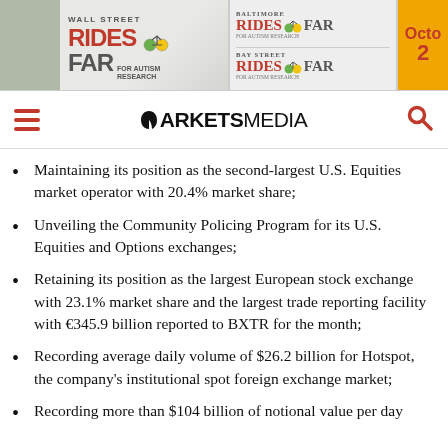[Figure (other): Wall Street Rides FAR / Baltimore Rides FAR / Bay Street Rides FAR for Autism Research event banner with October date]
[Figure (logo): Markets Media logo with hamburger menu and search icon navigation bar]
Maintaining its position as the second-largest U.S. Equities market operator with 20.4% market share;
Unveiling the Community Policing Program for its U.S. Equities and Options exchanges;
Retaining its position as the largest European stock exchange with 23.1% market share and the largest trade reporting facility with €345.9 billion reported to BXTR for the month;
Recording average daily volume of $26.2 billion for Hotspot, the company's institutional spot foreign exchange market;
Recording more than $104 billion of notional value per day